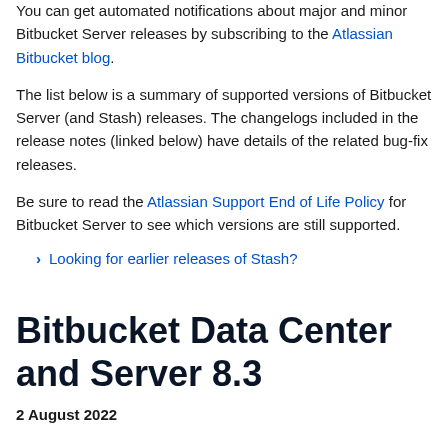the full release notes for every Bitbucket Server (and Stash) release.
You can get automated notifications about major and minor Bitbucket Server releases by subscribing to the Atlassian Bitbucket blog.
The list below is a summary of supported versions of Bitbucket Server (and Stash) releases. The changelogs included in the release notes (linked below) have details of the related bug-fix releases.
Be sure to read the Atlassian Support End of Life Policy for Bitbucket Server to see which versions are still supported.
Looking for earlier releases of Stash?
Bitbucket Data Center and Server 8.3
2 August 2022